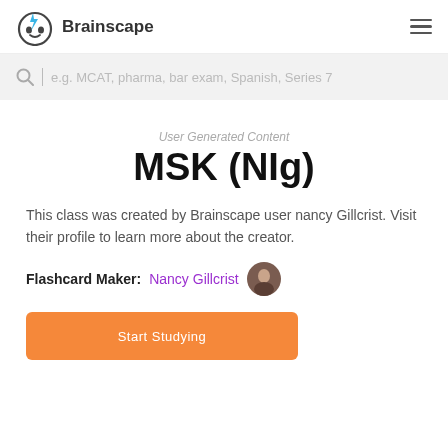Brainscape
e.g. MCAT, pharma, bar exam, Spanish, Series 7
User Generated Content
MSK (NIg)
This class was created by Brainscape user nancy Gillcrist. Visit their profile to learn more about the creator.
Flashcard Maker: Nancy Gillcrist
Start Studying